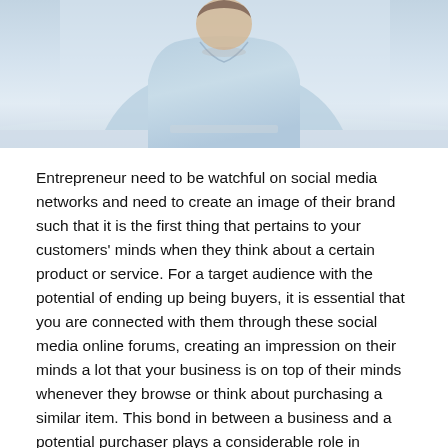[Figure (photo): Cropped photo of a person (entrepreneur/businessperson) in light blue shirt, seated at a desk or table, upper body visible, light background.]
Entrepreneur need to be watchful on social media networks and need to create an image of their brand such that it is the first thing that pertains to your customers' minds when they think about a certain product or service. For a target audience with the potential of ending up being buyers, it is essential that you are connected with them through these social media online forums, creating an impression on their minds a lot that your business is on top of their minds whenever they browse or think about purchasing a similar item. This bond in between a business and a potential purchaser plays a considerable role in transforming them from just a potential customer to a loyal and routine one.
Of all the social media platforms, Instagram is the most image-centric. When scrolling through the Instagram feed, the picture comes first (unlike Facebook, where the caption